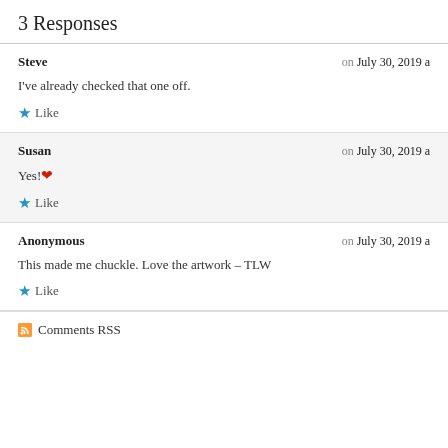3 Responses
Steve — on July 30, 2019 a
I've already checked that one off.
★ Like
Susan — on July 30, 2019 a
Yes! ❤
★ Like
Anonymous — on July 30, 2019 a
This made me chuckle. Love the artwork – TLW
★ Like
Comments RSS